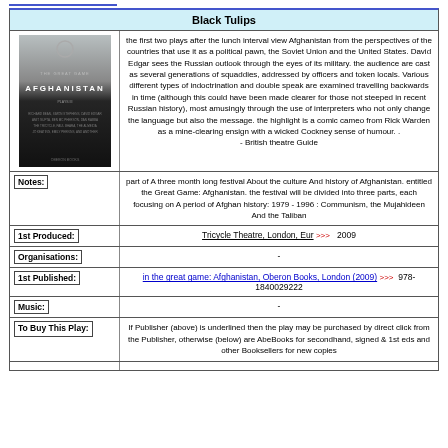Black Tulips
[Figure (photo): Book cover for The Great Game: Afghanistan, dark cover with title in white text]
the first two plays after the lunch interval view Afghanistan from the perspectives of the countries that use it as a political pawn, the Soviet Union and the United States. David Edgar sees the Russian outlook through the eyes of its military. the audience are cast as several generations of squaddies, addressed by officers and token locals. Various different types of indoctrination and double speak are examined travelling backwards in time (although this could have been made clearer for those not steeped in recent Russian history), most amusingly through the use of interpreters who not only change the language but also the message. the highlight is a comic cameo from Rick Warden as a mine-clearing ensign with a wicked Cockney sense of humour. . - British theatre Guide
Notes:
part of A three month long festival About the culture And history of Afghanistan. entitled the Great Game: Afghanistan. the festival will be divided into three parts, each focusing on A period of Afghan history: 1979 - 1996 : Communism, the Mujahideen And the Taliban
1st Produced:
Tricycle Theatre, London, Eur >>>  2009
Organisations:
-
1st Published:
in the great game: Afghanistan, Oberon Books, London (2009) >>>  978-1840029222
Music:
-
To Buy This Play:
If Publisher (above) is underlined then the play may be purchased by direct click from the Publisher, otherwise (below) are AbeBooks for secondhand, signed & 1st eds and other Booksellers for new copies